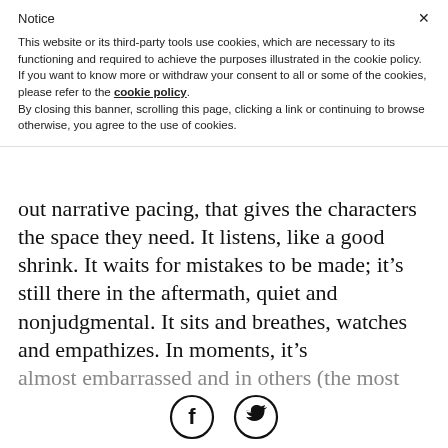Notice
This website or its third-party tools use cookies, which are necessary to its functioning and required to achieve the purposes illustrated in the cookie policy. If you want to know more or withdraw your consent to all or some of the cookies, please refer to the cookie policy. By closing this banner, scrolling this page, clicking a link or continuing to browse otherwise, you agree to the use of cookies.
out narrative pacing, that gives the characters the space they need. It listens, like a good shrink. It waits for mistakes to be made; it’s still there in the aftermath, quiet and nonjudgmental. It sits and breathes, watches and empathizes. In moments, it’s almost embarrassed and in others (the most painful
[Figure (illustration): Two circular social media icons: Facebook (f) and Twitter (bird logo), both black outlines on white background]